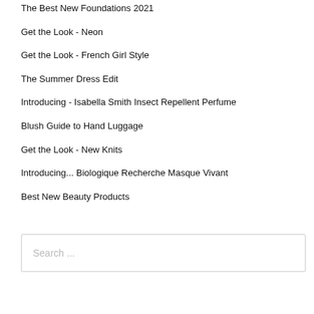The Best New Foundations 2021
Get the Look - Neon
Get the Look - French Girl Style
The Summer Dress Edit
Introducing - Isabella Smith Insect Repellent Perfume
Blush Guide to Hand Luggage
Get the Look - New Knits
Introducing... Biologique Recherche Masque Vivant
Best New Beauty Products
Search ...